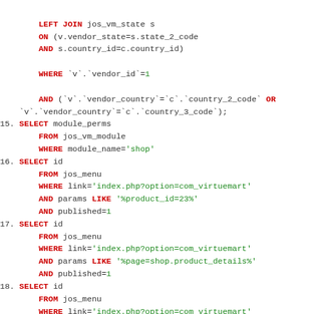SQL code listing with queries 15-19 including LEFT JOIN, WHERE, SELECT statements
LEFT JOIN jos_vm_state s
    ON (v.vendor_state=s.state_2_code
    AND s.country_id=c.country_id)

    WHERE `v`.`vendor_id`=1

    AND (`v`.`vendor_country`=`c`.`country_2_code` OR
`v`.`vendor_country`=`c`.`country_3_code`);
15. SELECT module_perms
    FROM jos_vm_module
    WHERE module_name='shop'
16. SELECT id
    FROM jos_menu
    WHERE link='index.php?option=com_virtuemart'
    AND params LIKE '%product_id=23%'
    AND published=1
17. SELECT id
    FROM jos_menu
    WHERE link='index.php?option=com_virtuemart'
    AND params LIKE '%page=shop.product_details%'
    AND published=1
18. SELECT id
    FROM jos_menu
    WHERE link='index.php?option=com_virtuemart'
    AND published=1
19. SELECT `pageid`
    FROM jos_sh404sef_pageids
    WHERE `newurl`='index.php?